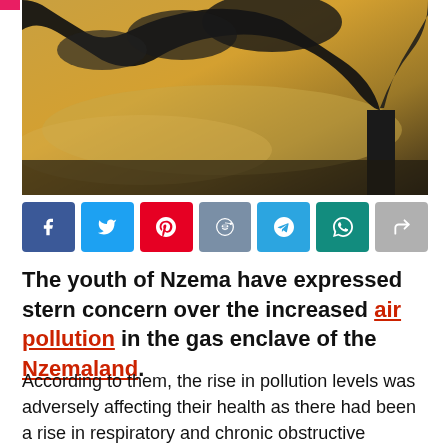[Figure (photo): Industrial chimney stack emitting large plumes of dark black smoke against a golden-yellow cloudy sky at dusk or dawn.]
[Figure (infographic): Social media share buttons row: Facebook (blue), Twitter (light blue), Pinterest (red), Reddit (gray-blue), Telegram (blue), WhatsApp (teal), Share (gray)]
The youth of Nzema have expressed stern concern over the increased air pollution in the gas enclave of the Nzemaland.
According to them, the rise in pollution levels was adversely affecting their health as there had been a rise in respiratory and chronic obstructive pulmonary diseases, asthma, and cardiovascular